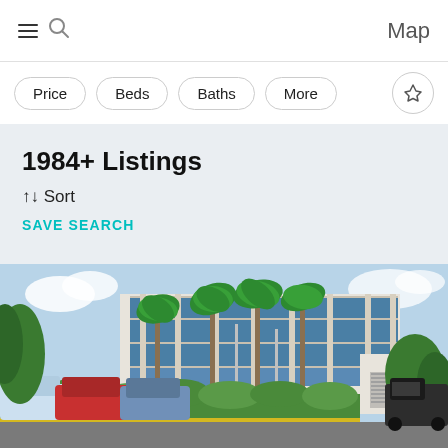≡ 🔍   Map
Price   Beds   Baths   More   ⊳
1984+ Listings
↑↓ Sort
SAVE SEARCH
[Figure (photo): Exterior photo of a multi-story commercial office building with blue glass windows, palm trees in front, parked cars and hedges in foreground, and a parking lot with a truck to the right.]